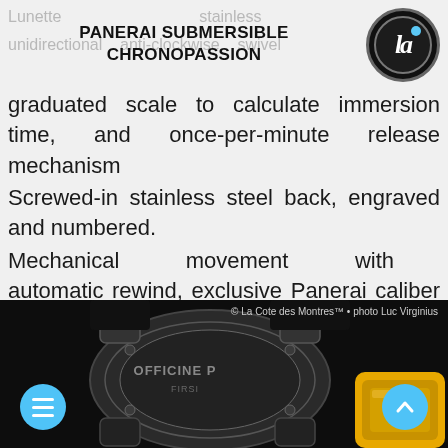PANERAI SUBMERSIBLE CHRONOPASSION
Lunette in stainless unidirectional anti-clockwise swivel graduated scale to calculate immersion time, and once-per-minute release mechanism
Screwed-in stainless steel back, engraved and numbered.
Mechanical movement with automatic rewind, exclusive Panerai caliber OPIII
Date (at 9 o'clock)
Small second hand (at 3 o'clock)
Water-resistant to depth of 300 meters
Luminous hands
[Figure (photo): Close-up photograph of the back of a Panerai Officine watch case, showing the engraved stainless steel caseback. A yellow Panerai tool is visible at the bottom right. Caption reads: © La Cote des Montres™ • photo Luc Virginius]